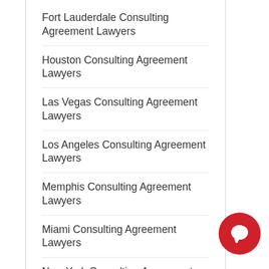Fort Lauderdale Consulting Agreement Lawyers
Houston Consulting Agreement Lawyers
Las Vegas Consulting Agreement Lawyers
Los Angeles Consulting Agreement Lawyers
Memphis Consulting Agreement Lawyers
Miami Consulting Agreement Lawyers
New York Consulting Agreement Lawyers
Oklahoma City Consulting Agreement Lawyers
Orlando Consulting Agreement Lawyers
Philadelphia Consulting Agreement